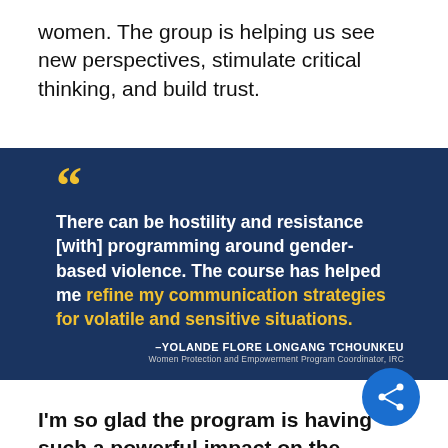women. The group is helping us see new perspectives, stimulate critical thinking, and build trust.
[Figure (infographic): Dark navy blue quote block with large yellow quotation marks, bold white and yellow text reading: 'There can be hostility and resistance [with] programming around gender-based violence. The course has helped me refine my communication strategies for volatile and sensitive situations.' Attribution: –YOLANDE FLORE LONGANG TCHOUNKEU, Women Protection and Empowerment Program Coordinator, IRC]
I'm so glad the program is having such a powerful impact on the group. Since 2U-powered online programs play a large role in the education of the Power of 10, how has the course you completed enhanced your leadership and day-